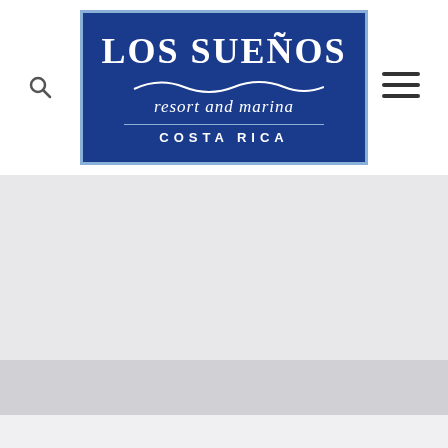[Figure (logo): Los Sueños Resort and Marina Costa Rica logo — white serif text on a dark blue rectangular background with a light blue border and a decorative wave graphic]